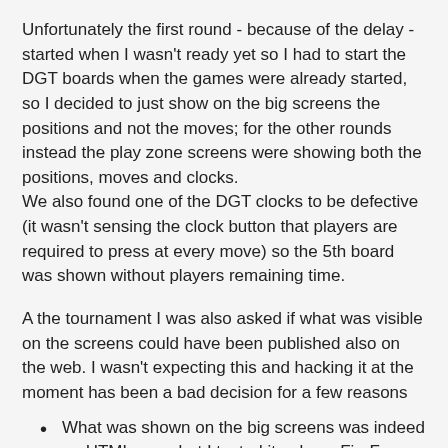Unfortunately the first round - because of the delay - started when I wasn't ready yet so I had to start the DGT boards when the games were already started, so I decided to just show on the big screens the positions and not the moves; for the other rounds instead the play zone screens were showing both the positions, moves and clocks.
We also found one of the DGT clocks to be defective (it wasn't sensing the clock button that players are required to press at every move) so the 5th board was shown without players remaining time.
A the tournament I was also asked if what was visible on the screens could have been published also on the web. I wasn't expecting this and hacking it at the moment has been a bad decision for a few reasons
What was shown on the big screens was indeed an HTML page but I tested it only on FireFox and actually I even used a few images for figurine notation that were rescaled exactly so they could look right at the resolution/magnification I was using on the big screens. I didn't try it at all with